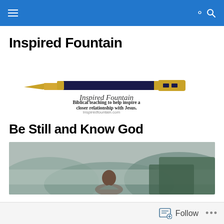Navigation header with hamburger menu and search icon on blue bar
Inspired Fountain
[Figure (logo): Inspired Fountain logo: a gold and black fountain pen above the cursive text 'Inspired Fountain' and the tagline 'Biblical teaching to help inspire a closer relationship with Jesus.' with the URL 'Inspiredfountain.com']
Be Still and Know God
[Figure (photo): A person with brown hair seen from behind, looking out over a misty, forested valley with green trees in the background under an overcast sky.]
Follow  •••